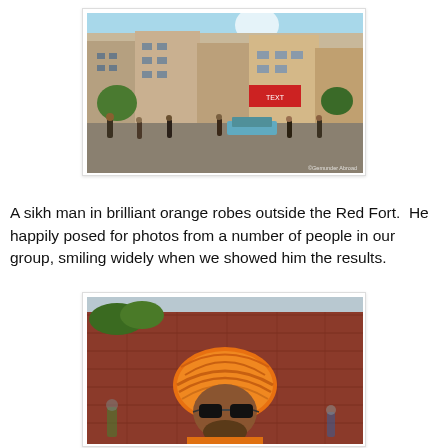[Figure (photo): Busy street scene in Old Delhi, India, with crowded multi-story buildings, market stalls, signage, people, rickshaws and vehicles. A watermark reading 'OGemunder Abroad' is visible in the bottom right corner.]
A sikh man in brilliant orange robes outside the Red Fort.  He happily posed for photos from a number of people in our group, smiling widely when we showed him the results.
[Figure (photo): Close-up portrait of a Sikh man wearing a vibrant orange turban and dark sunglasses, standing in front of a red stone fort wall with trees and other people visible in the background.]